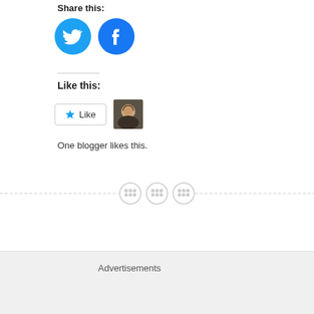Share this:
[Figure (illustration): Twitter and Facebook circular share buttons in blue]
Like this:
[Figure (illustration): Like button with star icon and blogger avatar thumbnail]
One blogger likes this.
[Figure (illustration): Decorative dashed horizontal divider with three circular button icons in the center]
PREVIOUS POST
Advertisements